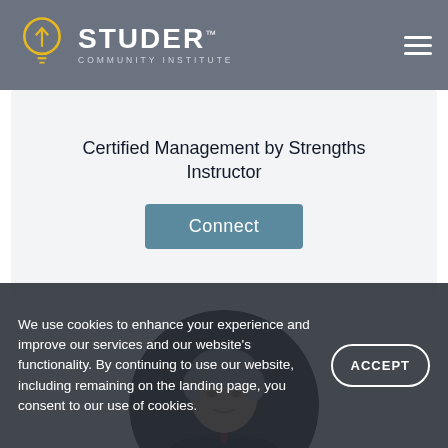[Figure (logo): Studer Community Institute logo — lightbulb with upward arrow in gold/yellow on grey header, with text STUDER COMMUNITY INSTITUTE]
Certified Management by Strengths Instructor
Connect
[Figure (photo): Circular profile photo of a man with grey hair wearing a dark suit and red tie]
We use cookies to enhance your experience and improve our services and our website's functionality. By continuing to use our website, including remaining on the landing page, you consent to our use of cookies.
ACCEPT